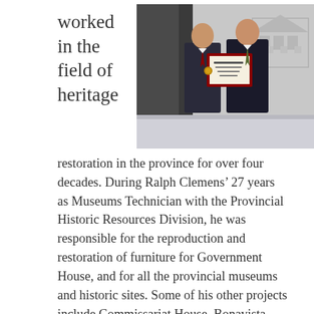worked in the field of heritage
[Figure (photo): Two men in dark suits standing together; one holds a framed certificate/award with a red border. Background shows a heritage building watermark logo.]
restoration in the province for over four decades. During Ralph Clemens' 27 years as Museums Technician with the Provincial Historic Resources Division, he was responsible for the reproduction and restoration of furniture for Government House, and for all the provincial museums and historic sites. Some of his other projects include Commissariat House, Bonavista Lighthouse, Mockbeggar Property, Hiscock House and Point Amour Lighthouse. A true artisan in every sense of the word, Ralph Clemens has brought devotion and a love of the craft to everything he has worked to create and restore. It is the skill, precision and care which he has brought to every project that has ensured many of Newfoundland and [partial text continues]